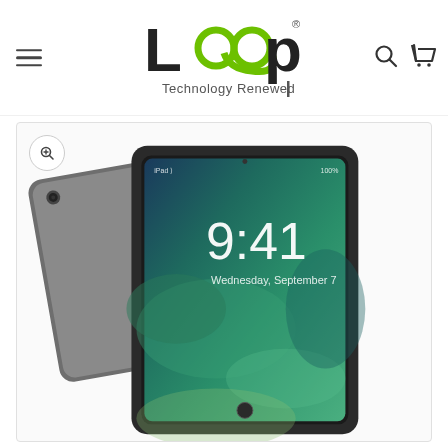[Figure (logo): Loop Technology Renewed logo with green infinity loop symbol and black text]
[Figure (photo): Apple iPad (Space Gray) product photo showing the front and back of the device. The lock screen displays 9:41 Wednesday September 7 with a blue/green water wallpaper.]